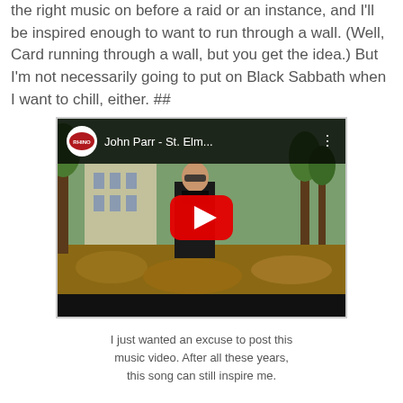the right music on before a raid or an instance, and I'll be inspired enough to want to run through a wall. (Well, Card running through a wall, but you get the idea.) But I'm not necessarily going to put on Black Sabbath when I want to chill, either. ##
[Figure (screenshot): Embedded YouTube video thumbnail showing John Parr - St. Elm... with Rhino Records logo, a man in sunglasses standing outdoors, and a large red YouTube play button overlay]
I just wanted an excuse to post this music video. After all these years, this song can still inspire me.